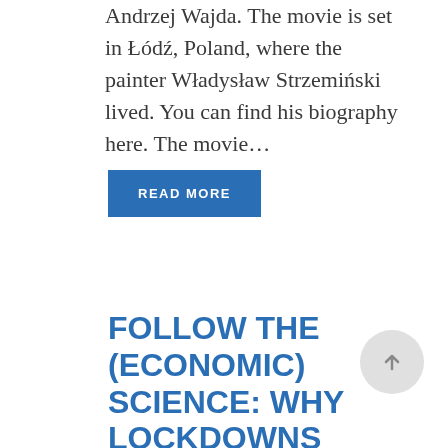Andrzej Wajda. The movie is set in Łódź, Poland, where the painter Władysław Strzemiński lived. You can find his biography here. The movie...
READ MORE
FOLLOW THE (ECONOMIC) SCIENCE: WHY LOCKDOWNS WERE BAD PANDEMIC...